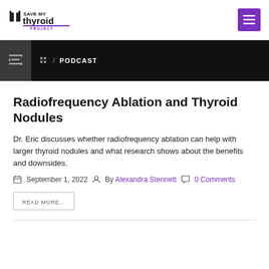Save My Thyroid Project — site header with logo and menu button
/ PODCAST
Radiofrequency Ablation and Thyroid Nodules
Dr. Eric discusses whether radiofrequency ablation can help with larger thyroid nodules and what research shows about the benefits and downsides.
September 1, 2022  By Alexandra Stennett  0 Comments
READ MORE...